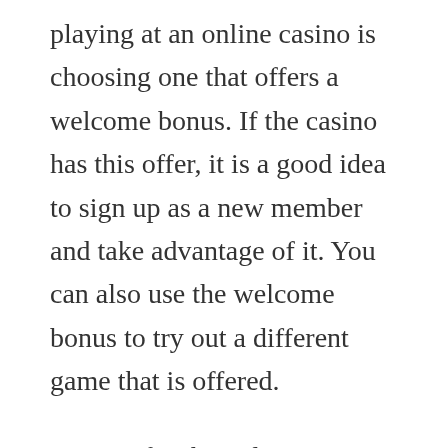playing at an online casino is choosing one that offers a welcome bonus. If the casino has this offer, it is a good idea to sign up as a new member and take advantage of it. You can also use the welcome bonus to try out a different game that is offered.
Sign up for the online casino's newsletter. Most online casinos offer newsletters and updates that allow you to stay up to date on their latest promotions. You can even subscribe to receive these updates by text message, which can be very convenient. While it is best to opt-in to these messages, be aware that you may receive unsolicited messages. Therefore, it is